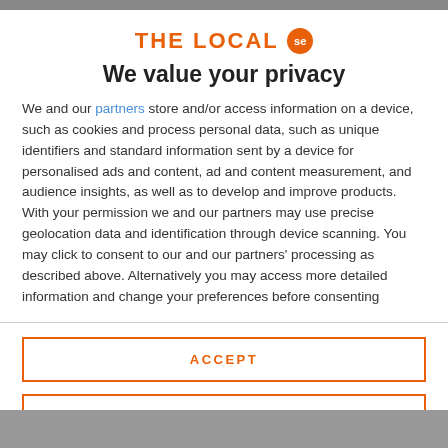[Figure (logo): THE LOCAL se logo with orange text and orange circle badge]
We value your privacy
We and our partners store and/or access information on a device, such as cookies and process personal data, such as unique identifiers and standard information sent by a device for personalised ads and content, ad and content measurement, and audience insights, as well as to develop and improve products. With your permission we and our partners may use precise geolocation data and identification through device scanning. You may click to consent to our and our partners' processing as described above. Alternatively you may access more detailed information and change your preferences before consenting
ACCEPT
MORE OPTIONS
[Figure (photo): Bottom partial image, appears to show people]